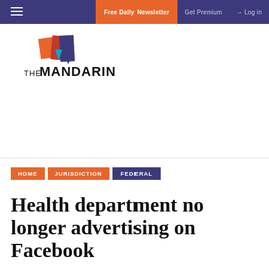Free Daily Newsletter  Get Premium  Log in
[Figure (logo): The Mandarin logo with geometric orange, red and blue/purple shapes and text THE MANDARIN]
HOME
JURISDICTION
FEDERAL
Health department no longer advertising on Facebook